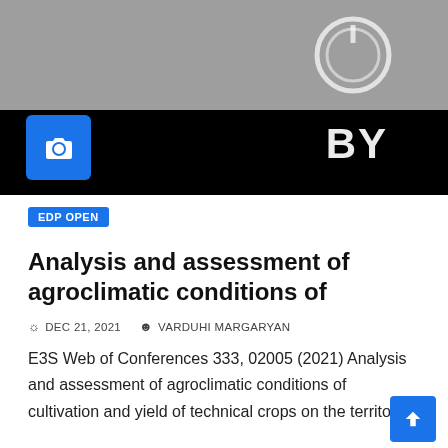[Figure (photo): Header image showing a dark/black background with 'BY' text in white, a camera icon button in blue, and a gray top section with a circular logo icon]
EDP OPEN
Analysis and assessment of agroclimatic conditions of
DEC 21, 2021   VARDUHI MARGARYAN
E3S Web of Conferences 333, 02005 (2021) Analysis and assessment of agroclimatic conditions of cultivation and yield of technical crops on the territory of Armenia Vardohi Margaryan1*, Gevorg Teitelbaum2